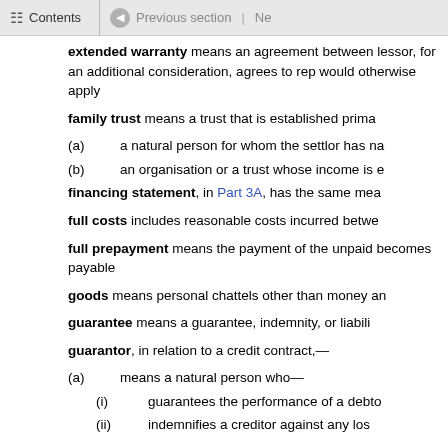Contents | Previous section | Ne
extended warranty means an agreement between lessor, for an additional consideration, agrees to rep would otherwise apply
family trust means a trust that is established prima
(a) a natural person for whom the settlor has na
(b) an organisation or a trust whose income is e
financing statement, in Part 3A, has the same mea
full costs includes reasonable costs incurred betwe
full prepayment means the payment of the unpaid becomes payable
goods means personal chattels other than money an
guarantee means a guarantee, indemnity, or liabili
guarantor, in relation to a credit contract,—
(a) means a natural person who—
(i) guarantees the performance of a debto
(ii) indemnifies a creditor against any los